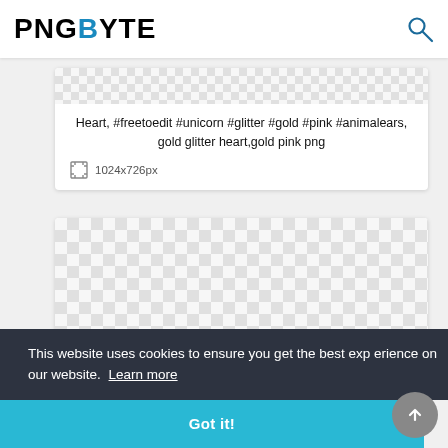PNGBYTE
Heart, #freetoedit #unicorn #glitter #gold #pink #animalears, gold glitter heart,gold pink png
1024x726px
[Figure (other): Transparent checkerboard pattern background area for a PNG image]
This website uses cookies to ensure you get the best experience on our website. Learn more
Got it!